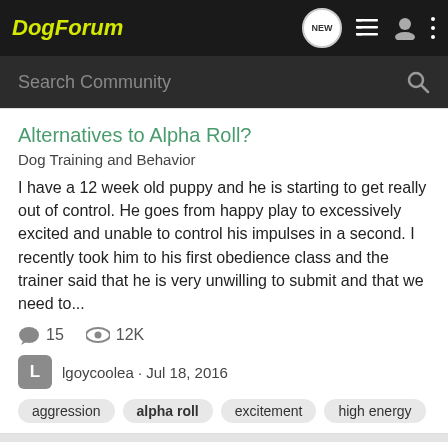DogForum
Search Community
Alternatives to Alpha Roll?
Dog Training and Behavior
I have a 12 week old puppy and he is starting to get really out of control. He goes from happy play to excessively excited and unable to control his impulses in a second. I recently took him to his first obedience class and the trainer said that he is very unwilling to submit and that we need to...
15   12K
lgoycoolea · Jul 18, 2016
aggression
alpha roll
excitement
high energy
My dog thinks she is alpha. Help!
Dog Training and Behavior